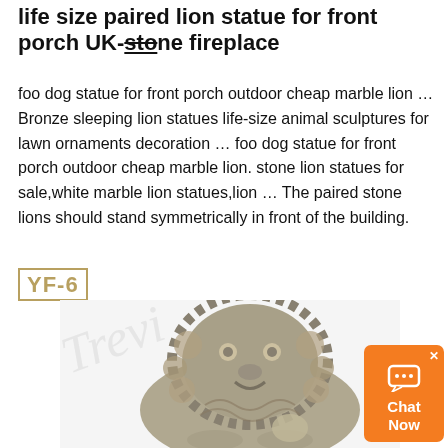life size paired lion statue for front porch UK-stone fireplace
foo dog statue for front porch outdoor cheap marble lion … Bronze sleeping lion statues life-size animal sculptures for lawn ornaments decoration … foo dog statue for front porch outdoor cheap marble lion. stone lion statues for sale,white marble lion statues,lion … The paired stone lions should stand symmetrically in front of the building.
YF-6
[Figure (photo): Close-up photo of a stone foo dog (Chinese guardian lion) statue, showing detailed carved face with ornate mane, on a white background. A watermark reading 'Trevi' appears in italic script.]